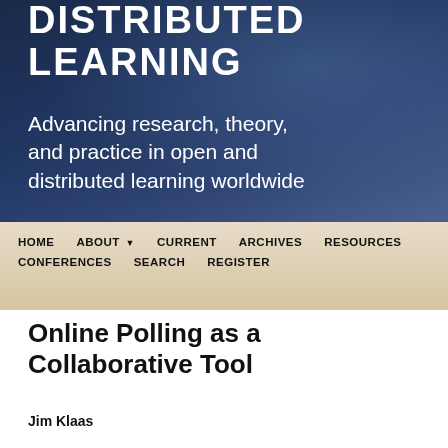[Figure (screenshot): Website header banner for a Distributed Learning journal with dark navy blue background and abstract light effects. Shows partial title text 'DISTRIBUTED LEARNING' and subtitle 'Advancing research, theory, and practice in open and distributed learning worldwide'.]
HOME   ABOUT ▼   CURRENT   ARCHIVES   RESOURCES   CONFERENCES   SEARCH   REGISTER
Online Polling as a Collaborative Tool
Jim Klaas